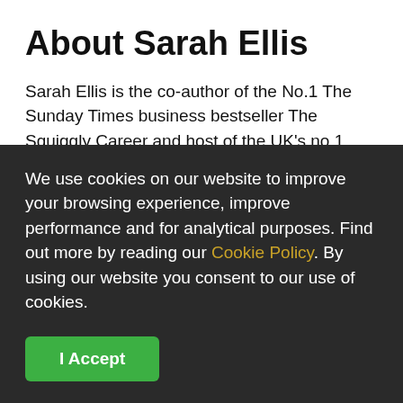About Sarah Ellis
Sarah Ellis is the co-author of the No.1 The Sunday Times business bestseller The Squiggly Career and host of the UK's no.1 careers podcast: Squiggly Careers. She is the co-founder of Amazing If, a business with a mission to make
We use cookies on our website to improve your browsing experience, improve performance and for analytical purposes. Find out more by reading our Cookie Policy. By using our website you consent to our use of cookies.
I Accept